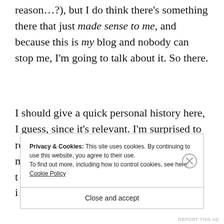reason...?), but I do think there's something there that just made sense to me, and because this is my blog and nobody can stop me, I'm going to talk about it. So there.
I should give a quick personal history here, I guess, since it's relevant. I'm surprised to realise that I've not talked about my beliefs much on here, and I don't intend to t... i...
Privacy & Cookies: This site uses cookies. By continuing to use this website, you agree to their use. To find out more, including how to control cookies, see here: Cookie Policy
Close and accept